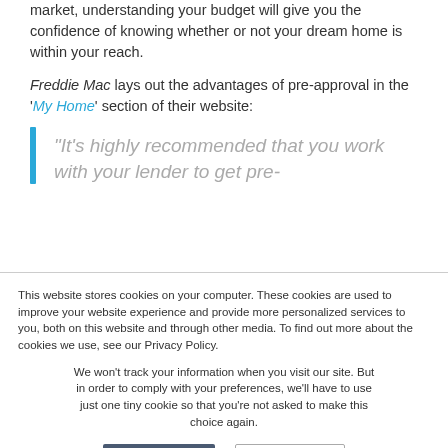market, understanding your budget will give you the confidence of knowing whether or not your dream home is within your reach.
Freddie Mac lays out the advantages of pre-approval in the 'My Home' section of their website:
“It’s highly recommended that you work with your lender to get pre-
This website stores cookies on your computer. These cookies are used to improve your website experience and provide more personalized services to you, both on this website and through other media. To find out more about the cookies we use, see our Privacy Policy.
We won’t track your information when you visit our site. But in order to comply with your preferences, we’ll have to use just one tiny cookie so that you’re not asked to make this choice again.